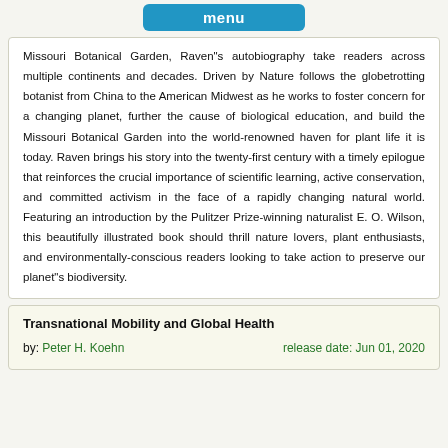menu
Missouri Botanical Garden, Raven"s autobiography take readers across multiple continents and decades. Driven by Nature follows the globetrotting botanist from China to the American Midwest as he works to foster concern for a changing planet, further the cause of biological education, and build the Missouri Botanical Garden into the world-renowned haven for plant life it is today. Raven brings his story into the twenty-first century with a timely epilogue that reinforces the crucial importance of scientific learning, active conservation, and committed activism in the face of a rapidly changing natural world. Featuring an introduction by the Pulitzer Prize-winning naturalist E. O. Wilson, this beautifully illustrated book should thrill nature lovers, plant enthusiasts, and environmentally-conscious readers looking to take action to preserve our planet"s biodiversity.
Transnational Mobility and Global Health
by: Peter H. Koehn    release date: Jun 01, 2020